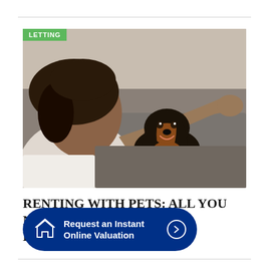[Figure (photo): Woman smiling at a small black and tan dachshund dog resting on a grey sofa; woman is wearing a grey sweater and petting the dog with one hand raised]
RENTING WITH PETS: ALL YOU NEED TO KNOW
Request an Instant Online Valuation